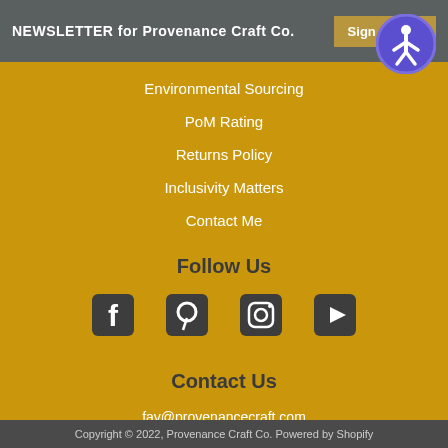NEWSLETTER for Provenance Craft Co.  Sign me up!
Environmental Sourcing
PoM Rating
Returns Policy
Inclusivity Matters
Contact Me
Follow Us
[Figure (illustration): Social media icons: Facebook, Pinterest, Instagram, YouTube]
Contact Us
fay@provenancecraft.com
Copyright © 2022, Provenance Craft Co. Powered by Shopify